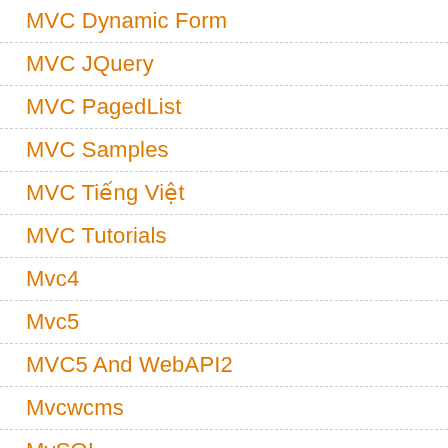MVC Dynamic Form
MVC JQuery
MVC PagedList
MVC Samples
MVC Tiếng Việt
MVC Tutorials
Mvc4
Mvc5
MVC5 And WebAPI2
Mvcwcms
MySQL
MySQL And .NET (C#)
MySQL Data Access
MySQL To SQL-Server
Naming Conventions
Nạp Tiền